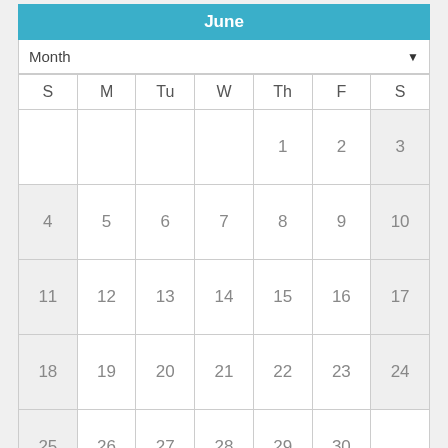| S | M | Tu | W | Th | F | S |
| --- | --- | --- | --- | --- | --- | --- |
|  |  |  |  | 1 | 2 | 3 |
| 4 | 5 | 6 | 7 | 8 | 9 | 10 |
| 11 | 12 | 13 | 14 | 15 | 16 | 17 |
| 18 | 19 | 20 | 21 | 22 | 23 | 24 |
| 25 | 26 | 27 | 28 | 29 | 30 |  |